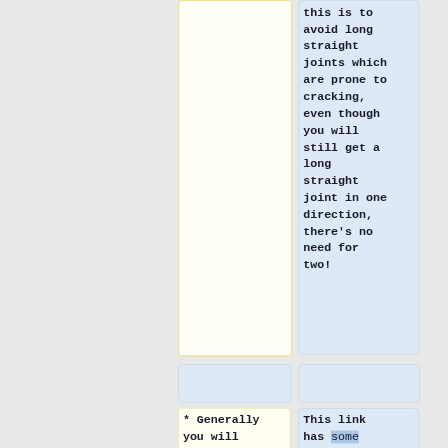this is to avoid long straight joints which are prone to cracking, even though you will still get a long straight joint in one direction, there's no need for two!
* Generally you will need some
This link has some very good